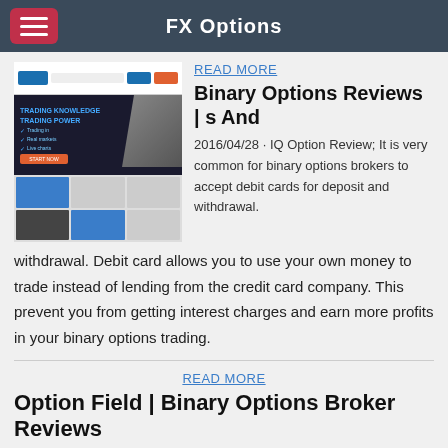FX Options
[Figure (screenshot): Screenshot of a binary options trading website showing a woman presenting in front of trading platform graphics, with navigation and call-to-action buttons]
READ MORE
Binary Options Reviews | s And
2016/04/28 · IQ Option Review; It is very common for binary options brokers to accept debit cards for deposit and withdrawal. Debit card allows you to use your own money to trade instead of lending from the credit card company. This prevent you from getting interest charges and earn more profits in your binary options trading.
READ MORE
Option Field | Binary Options Broker Reviews
Broker Review: Lion Binary Options. Lion Binary Options offers their inexperienced binary options traders in the financial market...